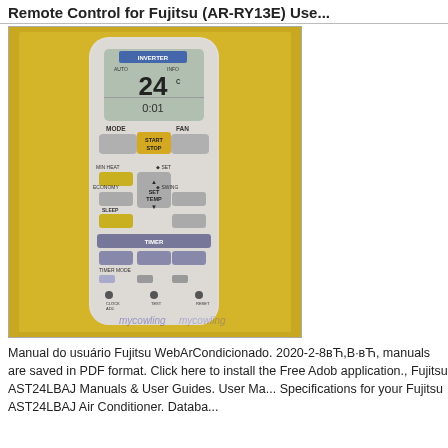Remote Control for Fujitsu (AR-RY13E) Use...
[Figure (photo): Photo of a Fujitsu inverter air conditioner remote control (AR-RY13E) with MODE, FAN, START/STOP, MIN HEAT, ECONOMY, SLEEP, SET TEMP, TIMER buttons on a yellow background, watermarked with 'mycowling']
Manual do usuário Fujitsu WebArCondicionado. 2020-2-8вЋ,В·вЋ, manuals are saved in PDF format. Click here to install the Free Adob application., Fujitsu AST24LBAJ Manuals & User Guides. User Ma... Specifications for your Fujitsu AST24LBAJ Air Conditioner. Databa...